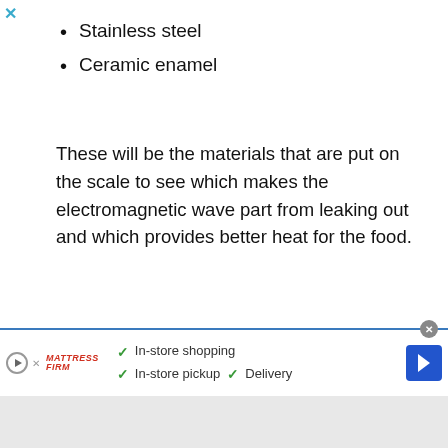Stainless steel
Ceramic enamel
These will be the materials that are put on the scale to see which makes the electromagnetic wave part from leaking out and which provides better heat for the food.
[Figure (photo): A dark atmospheric photo showing wisps of white smoke rising against a dark blue background, with warm orange/brown tones visible on the left side.]
In-store shopping  In-store pickup  Delivery